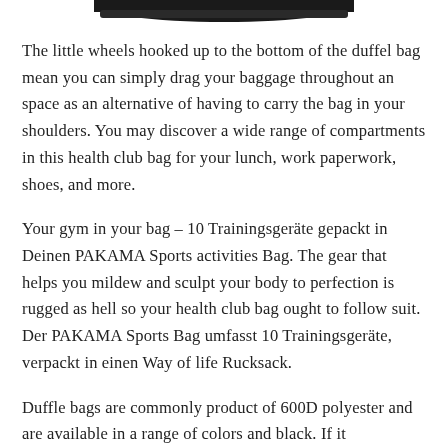[Figure (photo): Partial view of a dark-colored bag/shoe at the top of the page]
The little wheels hooked up to the bottom of the duffel bag mean you can simply drag your baggage throughout an space as an alternative of having to carry the bag in your shoulders. You may discover a wide range of compartments in this health club bag for your lunch, work paperwork, shoes, and more.
Your gym in your bag – 10 Trainingsgeräte gepackt in Deinen PAKAMA Sports activities Bag. The gear that helps you mildew and sculpt your body to perfection is rugged as hell so your health club bag ought to follow suit. Der PAKAMA Sports Bag umfasst 10 Trainingsgeräte, verpackt in einen Way of life Rucksack.
Duffle bags are commonly product of 600D polyester and are available in a range of colors and black. If it...